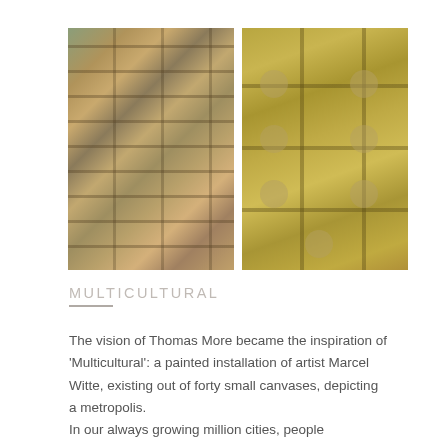[Figure (photo): Two side-by-side photographs: left shows a dense urban apartment building facade with balconies, laundry, satellite dishes, and patchwork textures in muted browns and greens; right shows a yellow-ochre wall with a grid of large rectangular panels, each containing circular porthole-like openings with partial faces visible.]
MULTICULTURAL
The vision of Thomas More became the inspiration of 'Multicultural': a painted installation of artist Marcel Witte, existing out of forty small canvases, depicting a metropolis.
In our always growing million cities, people